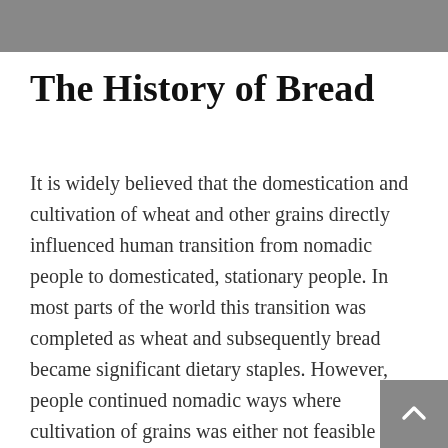The History of Bread
It is widely believed that the domestication and cultivation of wheat and other grains directly influenced human transition from nomadic people to domesticated, stationary people. In most parts of the world this transition was completed as wheat and subsequently bread became significant dietary staples. However, people continued nomadic ways where cultivation of grains was either not feasible or not desirable.